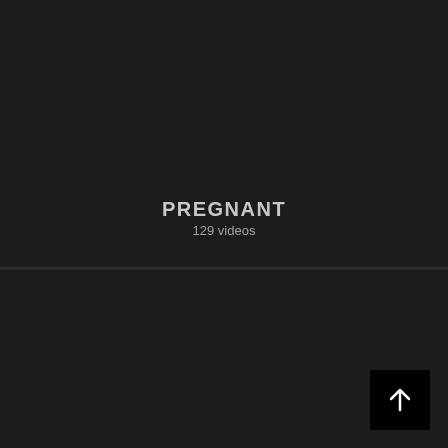[Figure (screenshot): Dark-themed video playlist card showing title PREGNANT and subtitle 129 videos on a near-black background]
PREGNANT
129 videos
[Figure (screenshot): Second dark-themed video card on near-black background with a scroll-to-top button in bottom right corner]